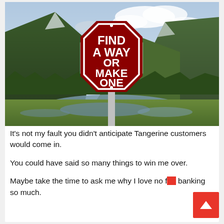[Figure (illustration): Photo of a scenic mountain valley with river and green landscape. In the foreground, a dark red octagonal stop-sign shaped sign reads 'FIND A WAY OR MAKE ONE' in bold white text.]
It's not my fault you didn't anticipate Tangerine customers would come in.
You could have said so many things to win me over.
Maybe take the time to ask me why I love no f… banking so much.